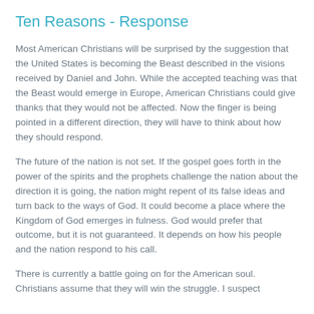Ten Reasons - Response
Most American Christians will be surprised by the suggestion that the United States is becoming the Beast described in the visions received by Daniel and John. While the accepted teaching was that the Beast would emerge in Europe, American Christians could give thanks that they would not be affected. Now the finger is being pointed in a different direction, they will have to think about how they should respond.
The future of the nation is not set. If the gospel goes forth in the power of the spirits and the prophets challenge the nation about the direction it is going, the nation might repent of its false ideas and turn back to the ways of God. It could become a place where the Kingdom of God emerges in fulness. God would prefer that outcome, but it is not guaranteed. It depends on how his people and the nation respond to his call.
There is currently a battle going on for the American soul. Christians assume that they will win the struggle. I suspect